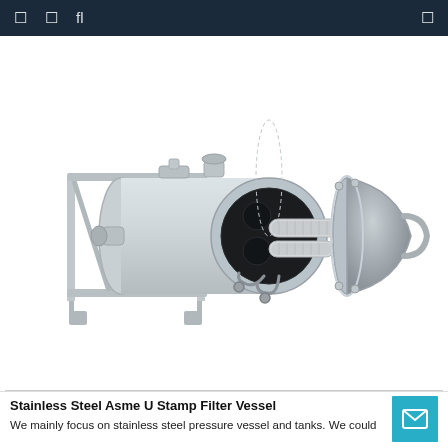□ □ fl □
[Figure (photo): Stainless steel ASME U Stamp filter vessel shown in isometric view, with cylindrical body mounted on a frame, open end cap revealing internal filter elements, and various port connections. The vessel is predominantly light grey/silver in color.]
Stainless Steel Asme U Stamp Filter Vessel
We mainly focus on stainless steel pressure vessel and tanks. We could